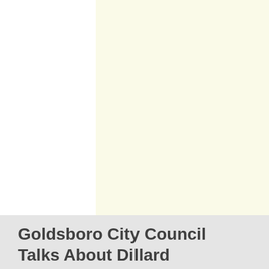[Figure (photo): Blank cream/off-white page area, top portion of a document page with light yellow background]
Goldsboro City Council Talks About Dillard About Deman...